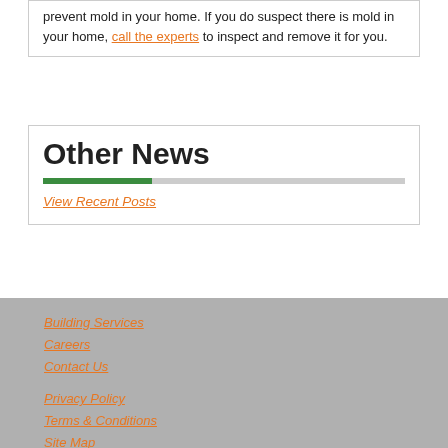prevent mold in your home. If you do suspect there is mold in your home, call the experts to inspect and remove it for you.
Other News
View Recent Posts
Building Services
Careers
Contact Us
Privacy Policy
Terms & Conditions
Site Map
Visit our corporate site
Contractor Licenses:
General: RCE-35294
more info
SERVPRO of Boise
P: (208) 369-9440
2882 N Eagle Road
Meridian, ID 83646